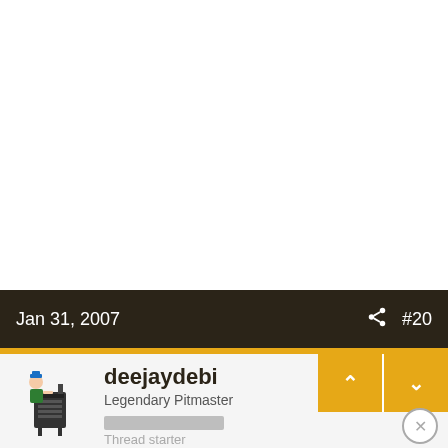Jan 31, 2007  #20
deejaydebi
Legendary Pitmaster
Thread starter